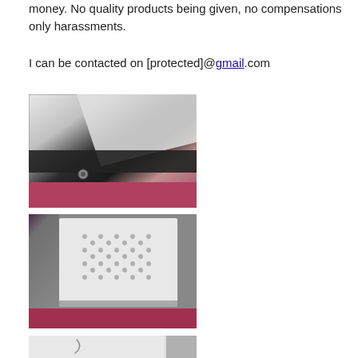money. No quality products being given, no compensations only harassments.
I can be contacted on [protected]@gmail.com
[Figure (photo): Close-up photo of a bus window frame showing a scratch or damage, with red seat cushion visible at the bottom]
[Figure (photo): Photo of a bus window panel showing perforated/dotted pattern on white panel, with red seat cushion visible at bottom]
[Figure (photo): Partial photo of a white panel with a scratch mark visible, with metal frame]